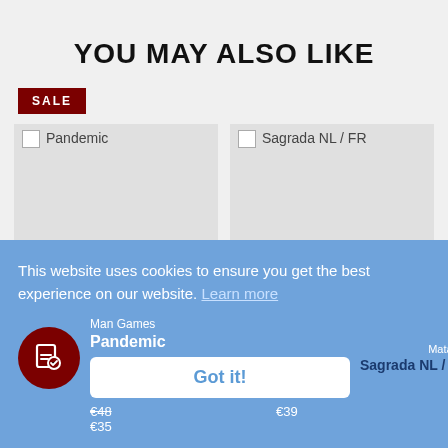YOU MAY ALSO LIKE
SALE
[Figure (photo): Product image placeholder for Pandemic board game]
[Figure (photo): Product image placeholder for Sagrada NL / FR board game]
Z-Man Games
Pandemic
€48
€35
Matagot
Sagrada NL / FR
€39
This website uses cookies to ensure you get the best experience on our website. Learn more
Got it!